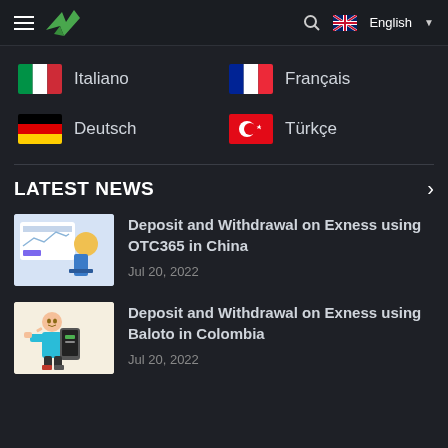Menu | Logo | Search | English
Italiano
Français
Deutsch
Türkçe
LATEST NEWS
[Figure (photo): Illustration of a person using a financial dashboard with charts]
Deposit and Withdrawal on Exness using OTC365 in China
Jul 20, 2022
[Figure (photo): Illustration of a cartoon character holding a smartphone]
Deposit and Withdrawal on Exness using Baloto in Colombia
Jul 20, 2022